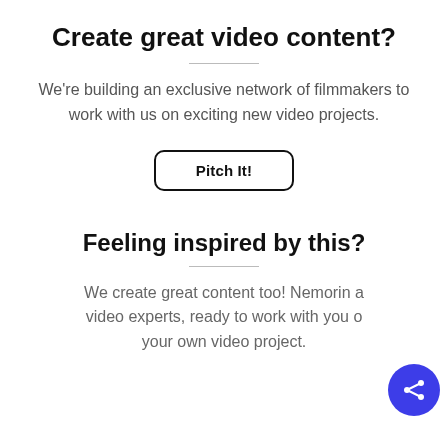Create great video content?
We're building an exclusive network of filmmakers to work with us on exciting new video projects.
Pitch It!
Feeling inspired by this?
We create great content too! Nemorin a… video experts, ready to work with you o… your own video project.